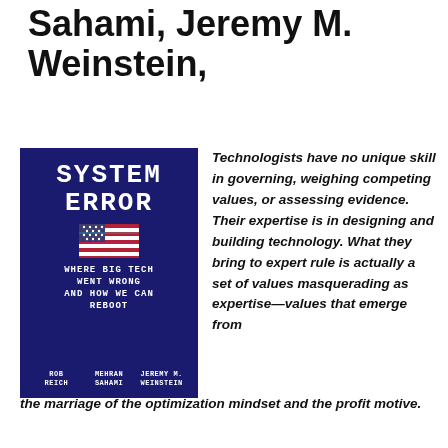Sahami, Jeremy M. Weinstein,
[Figure (illustration): Book cover of 'System Error: Where Big Tech Went Wrong and How We Can Reboot' by Rob Reich, Mehran Sahami, Jeremy M. Weinstein. Dark navy blue cover with monospace title text and a distorted American flag image in the center.]
Technologists have no unique skill in governing, weighing competing values, or assessing evidence. Their expertise is in designing and building technology. What they bring to expert rule is actually a set of values masquerading as expertise—values that emerge from the marriage of the optimization mindset and the profit motive.